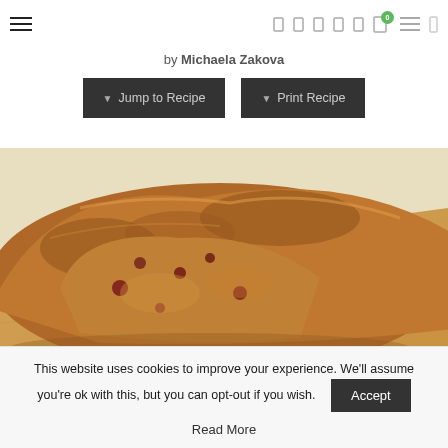Navigation header with hamburger menus, social icons, cart icon with badge 0
by Michaela Zakova
Jump to Recipe   Print Recipe
[Figure (photo): A close-up photo of sliced banana bread or fruit loaf on a wooden cutting board, showing dark berries or fruit pieces inside the golden-brown baked loaf.]
This website uses cookies to improve your experience. We'll assume you're ok with this, but you can opt-out if you wish.
Accept
Read More